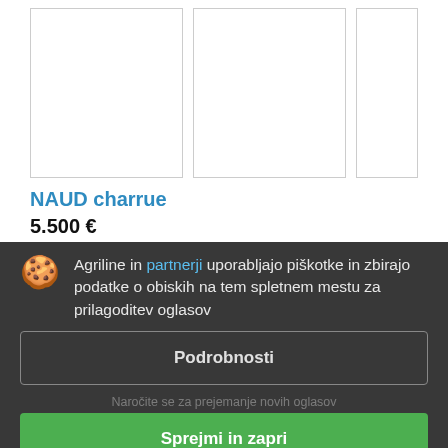[Figure (photo): Three image placeholder boxes for product listing]
NAUD charrue
5.500 €
Plug
Leto: 1996-08-08
Agriline in partnerji uporabljajo piškotke in zbirajo podatke o obiskih na tem spletnem mestu za prilagoditev oglasov
Podrobnosti
Naročite se za prejemanje novih oglasov
Sprejmi in zapri
Naud